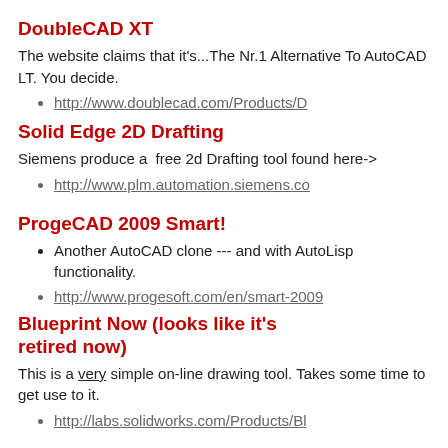DoubleCAD XT
The website claims that it's...The Nr.1 Alternative To AutoCAD LT. You decide.
http://www.doublecad.com/Products/D
Solid Edge 2D Drafting
Siemens produce a  free 2d Drafting tool found here->
http://www.plm.automation.siemens.co
ProgeCAD 2009 Smart!
Another AutoCAD clone --- and with AutoLisp functionality.
http://www.progesoft.com/en/smart-2009
Blueprint Now (looks like it's retired now)
This is a very simple on-line drawing tool. Takes some time to get use to it.
http://labs.solidworks.com/Products/Bl